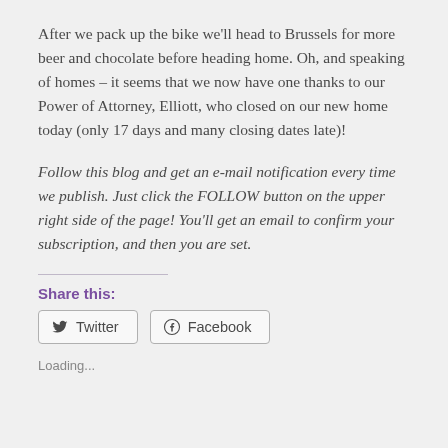After we pack up the bike we'll head to Brussels for more beer and chocolate before heading home.  Oh, and speaking of homes – it seems that we now have one thanks to our Power of Attorney, Elliott, who closed on our new home today (only 17 days and many closing dates late)!
Follow this blog and get an e-mail notification every time we publish. Just click the FOLLOW button on the upper right side of the page!  You'll get an email to confirm your subscription, and then you are set.
Share this:
Twitter  Facebook
Loading...